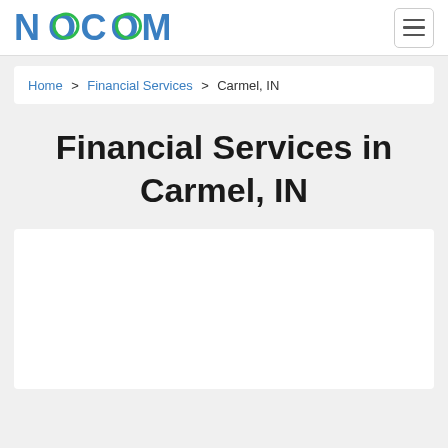NOCOMO
Home > Financial Services > Carmel, IN
Financial Services in Carmel, IN
[Figure (other): White content card area, empty]